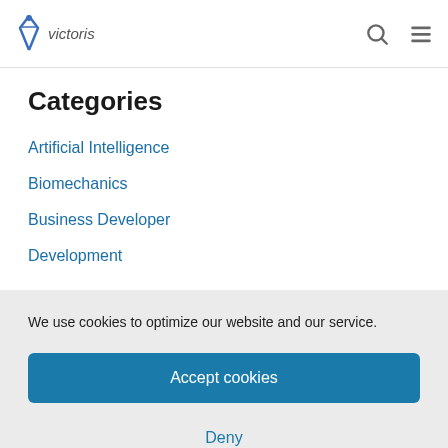victoris
Categories
Artificial Intelligence
Biomechanics
Business Developer
Development
We use cookies to optimize our website and our service.
Accept cookies
Deny
View preferences